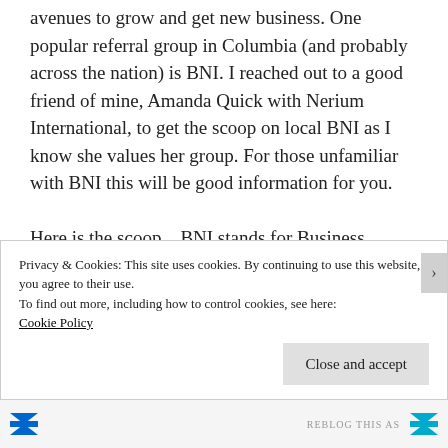avenues to grow and get new business. One popular referral group in Columbia (and probably across the nation) is BNI. I reached out to a good friend of mine, Amanda Quick with Nerium International, to get the scoop on local BNI as I know she values her group. For those unfamiliar with BNI this will be good information for you.

Here is the scoop....BNI stands for Business Network International and there are 4 different BNI groups in Columbia, MO. They meet at various times during the week. The motto of BNI is “Giver’s Gain”. If you give
Privacy & Cookies: This site uses cookies. By continuing to use this website, you agree to their use.
To find out more, including how to control cookies, see here:
Cookie Policy
Close and accept